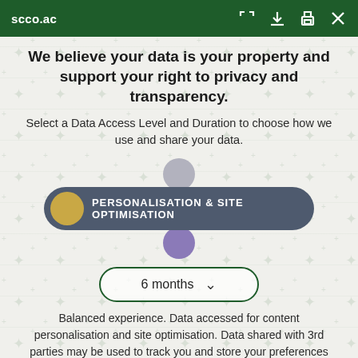scco.ac
We believe your data is your property and support your right to privacy and transparency.
Select a Data Access Level and Duration to choose how we use and share your data.
[Figure (infographic): A slider/toggle UI control showing 'PERSONALISATION & SITE OPTIMISATION' as the selected option. A grey circle above the pill-shaped dark grey bar, a gold circle on the left of the bar with white uppercase text, and a purple circle below the bar. Below that is a dropdown button showing '6 months' with a chevron arrow.]
Balanced experience. Data accessed for content personalisation and site optimisation. Data shared with 3rd parties may be used to track you and store your preferences for this site.